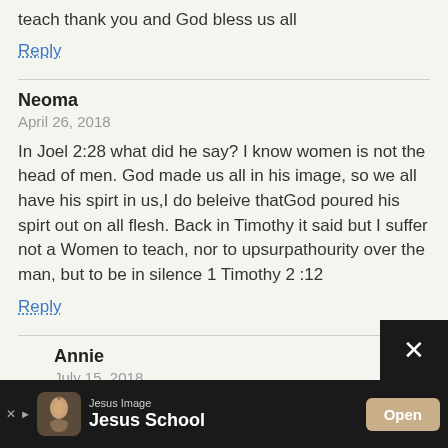teach thank you and God bless us all
Reply
Neoma
April 26, 2018
In Joel 2:28 what did he say? I know women is not the head of men. God made us all in his image, so we all have his spirt in us,I do beleive thatGod poured his spirt out on all flesh. Back in Timothy it said but I suffer not a Women to teach, nor to upsurpathourity over the man, but to be in silence 1 Timothy 2 :12
Reply
Annie
July 15, 2018
I have sat with tears of how mis guided
[Figure (screenshot): Advertisement bar at bottom: Jesus Image 'Jesus School' with Open button and close button]